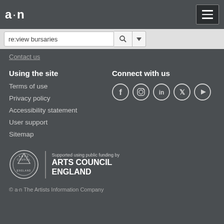a·n
re:view bursaries
Contact us
Using the site
Terms of use
Privacy policy
Accessibility statement
User support
Sitemap
Connect with us
[Figure (logo): Social media icons: Facebook, Instagram, LinkedIn, Twitter, YouTube]
[Figure (logo): Arts Council England logo - circular logo with text ARTS COUNCIL ENGLAND supported using public funding by]
© a·n The Artists Information Company